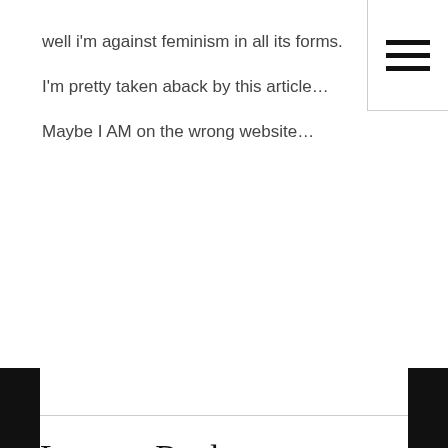[Figure (other): Hamburger menu icon (three horizontal lines) in top-right corner]
well i'm against feminism in all its forms.

I'm pretty taken aback by this article…

Maybe I AM on the wrong website…
[Figure (other): Red REPLY button]
Leave a Reply
Your email address will not be published. Required fields are marked *
[Figure (other): Empty comment text area input box]